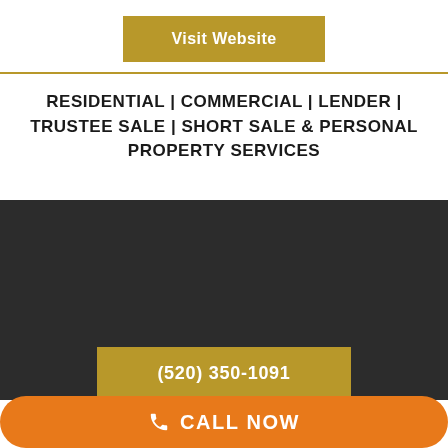Visit Website
RESIDENTIAL | COMMERCIAL | LENDER | TRUSTEE SALE | SHORT SALE & PERSONAL PROPERTY SERVICES
[Figure (other): Dark background section with phone number button]
(520) 350-1091
CALL NOW